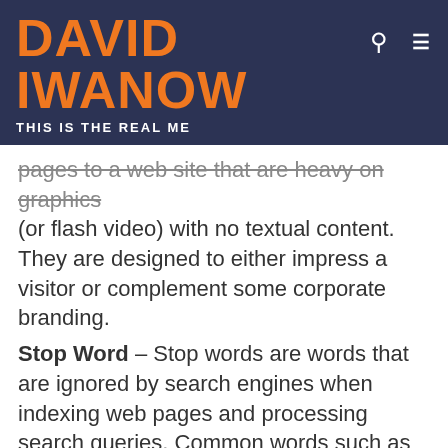DAVID IWANOW
THIS IS THE REAL ME
pages to a web site that are heavy on graphics (or flash video) with no textual content. They are designed to either impress a visitor or complement some corporate branding.
Stop Word – Stop words are words that are ignored by search engines when indexing web pages and processing search queries. Common words such as the.
ADMIN - 484 posts
guides